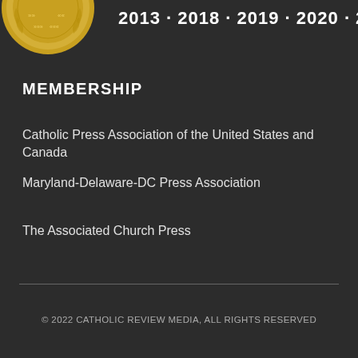[Figure (illustration): Gold medal/seal with laurel wreath design, partially visible at top-left corner]
2013 · 2018 · 2019 · 2020 · 2021
MEMBERSHIP
Catholic Press Association of the United States and Canada
Maryland-Delaware-DC Press Association
The Associated Church Press
© 2022 CATHOLIC REVIEW MEDIA, ALL RIGHTS RESERVED